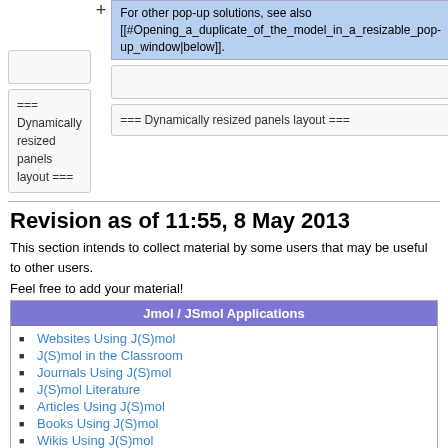For other pop-up solutions, see also [[#Opening_a_duplicate_of_the_model_in_a_resizable_pop-up_window|below]].
=== Dynamically resized panels layout ===
=== Dynamically resized panels layout ===
Revision as of 11:55, 8 May 2013
This section intends to collect material by some users that may be useful to other users.
Feel free to add your material!
| Jmol / JSmol Applications |
| --- |
| Websites Using J(S)mol |
| J(S)mol in the Classroom |
| Journals Using J(S)mol |
| J(S)mol Literature |
| Articles Using J(S)mol |
| Books Using J(S)mol |
| Wikis Using J(S)mol |
| Blogs Using J(S)mol |
| CMS Using J(S)mol (Moodle and others) |
Course Management Systems, Learning Management Systems, Virtual Learning Environments